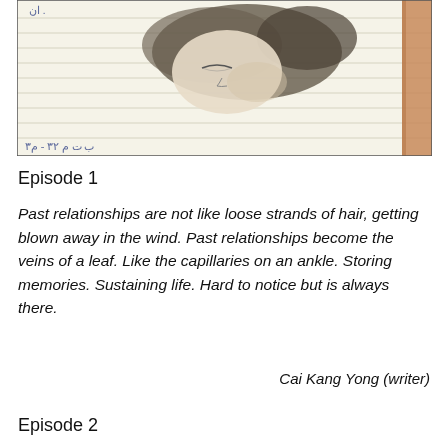[Figure (illustration): Pencil sketch of a person with dark hair resting or sleeping, drawn on lined notebook paper with handwritten text/markings visible, wooden surface visible at right edge]
Episode 1
Past relationships are not like loose strands of hair, getting blown away in the wind. Past relationships become the veins of a leaf. Like the capillaries on an ankle. Storing memories. Sustaining life. Hard to notice but is always there.
Cai Kang Yong (writer)
Episode 2